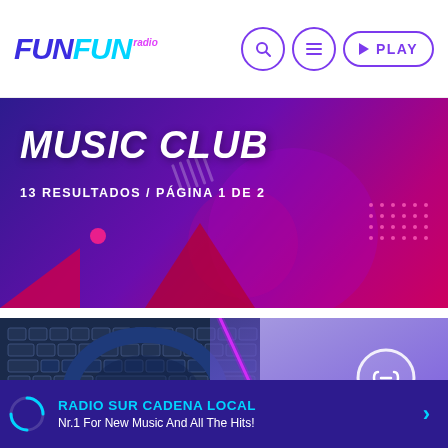FunFun radio — Navigation bar with search, menu, and PLAY button
MUSIC CLUB
13 RESULTADOS / PÁGINA 1 DE 2
[Figure (screenshot): Card image showing a laptop keyboard with headphones and a purple gradient overlay with a glowing diagonal line and a chain-link icon circle]
RADIO SUR CADENA LOCAL
Nr.1 For New Music And All The Hits!